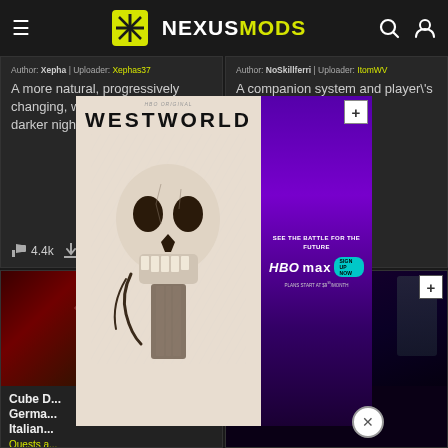NexusMods
Author: Xepha | Uploader: Xephas37
A more natural, progressively changing, weather system + darker nights.
👍 4.4k 📥 187.2k
Author: NoSkillferri | Uploader: ItomWV
A companion system and player's vault home.
👍 4.4k 📥 272.3k
[Figure (screenshot): Nexus Mods screenshot showing two mod cards at top and two card thumbnails below, overlaid with a Westworld HBO Max advertisement]
Cube D... Germa... Italian...
Quests a...